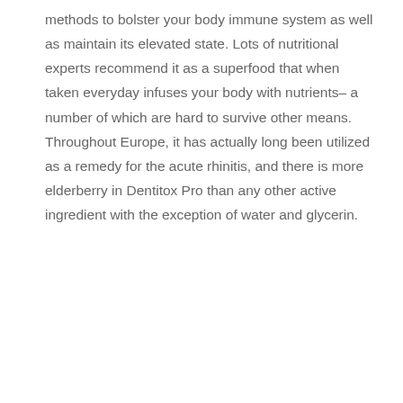methods to bolster your body immune system as well as maintain its elevated state. Lots of nutritional experts recommend it as a superfood that when taken everyday infuses your body with nutrients– a number of which are hard to survive other means. Throughout Europe, it has actually long been utilized as a remedy for the acute rhinitis, and there is more elderberry in Dentitox Pro than any other active ingredient with the exception of water and glycerin.